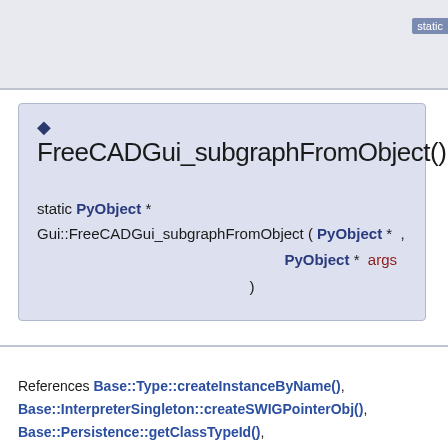[Figure (screenshot): Top bar with light blue-gray background and 'static' badge on the right]
◆ FreeCADGui_subgraphFromObject()
static PyObject * Gui::FreeCADGui_subgraphFromObject ( PyObject * , PyObject * args )
References Base::Type::createInstanceByName(), Base::InterpreterSingleton::createSWIGPointerObj(), Base::Persistence::getClassTypeId(), Base::Persistence::getTypeId(),